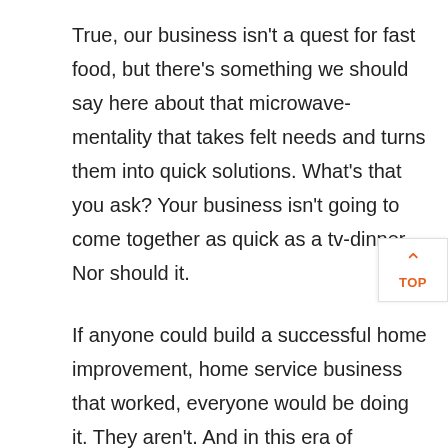True, our business isn't a quest for fast food, but there's something we should say here about that microwave-mentality that takes felt needs and turns them into quick solutions. What's that you ask? Your business isn't going to come together as quick as a tv-dinner. Nor should it.
If anyone could build a successful home improvement, home service business that worked, everyone would be doing it. They aren't. And in this era of microwave-mindset, there are even fewer that will go the distance – but you've already decided that you're going to be amongst the outliers. So what's next? Let's make a map.